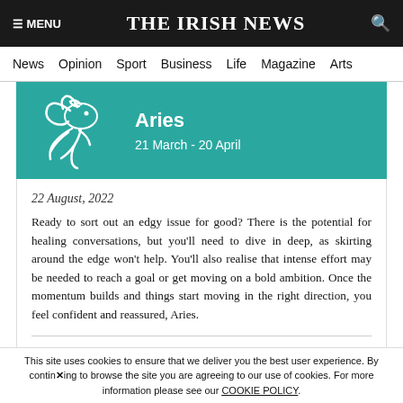☰ MENU   THE IRISH NEWS   🔍
News  Opinion  Sport  Business  Life  Magazine  Arts
Aries
21 March - 20 April
22 August, 2022
Ready to sort out an edgy issue for good? There is the potential for healing conversations, but you'll need to dive in deep, as skirting around the edge won't help. You'll also realise that intense effort may be needed to reach a goal or get moving on a bold ambition. Once the momentum builds and things start moving in the right direction, you feel confident and reassured, Aries.
See a different horoscope: Aries
This site uses cookies to ensure that we deliver you the best user experience. By continuing to browse the site you are agreeing to our use of cookies. For more information please see our COOKIE POLICY.